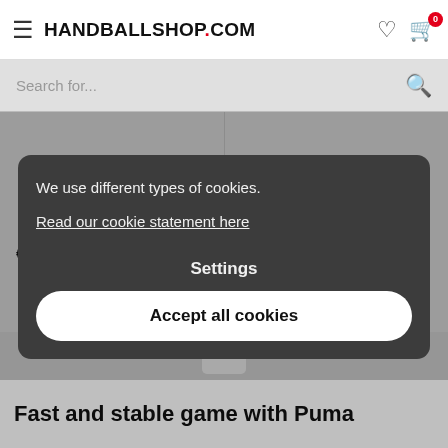HANDBALLSHOP.COM
Search for...
[Figure (screenshot): Two handball shoes shown side by side: left shoe is white/blue/orange, right shoe is cream/beige/navy. Prices shown: € 99.95 (left) and € 149.95 (right). FIRST MILE label visible on right product.]
We use different types of cookies.

Read our cookie statement here
Settings
Accept all cookies
1
Fast and stable game with Puma